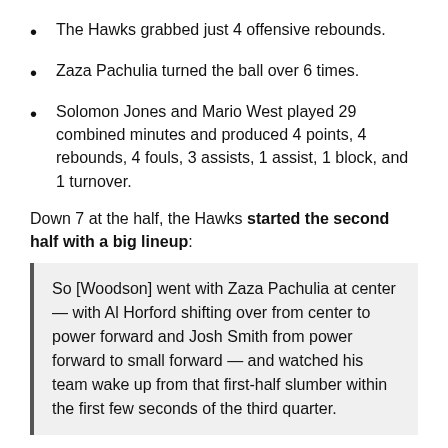The Hawks grabbed just 4 offensive rebounds.
Zaza Pachulia turned the ball over 6 times.
Solomon Jones and Mario West played 29 combined minutes and produced 4 points, 4 rebounds, 4 fouls, 3 assists, 1 assist, 1 block, and 1 turnover.
Down 7 at the half, the Hawks started the second half with a big lineup:
So [Woodson] went with Zaza Pachulia at center — with Al Horford shifting over from center to power forward and Josh Smith from power forward to small forward — and watched his team wake up from that first-half slumber within the first few seconds of the third quarter.